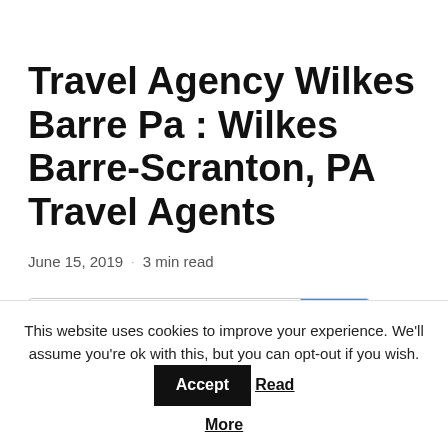Travel Agency Wilkes Barre Pa : Wilkes Barre-Scranton, PA Travel Agents
June 15, 2019 · 3 min read
[Figure (screenshot): ENHANCED BY Google search widget with a blue search button icon]
This website uses cookies to improve your experience. We'll assume you're ok with this, but you can opt-out if you wish. Accept Read More